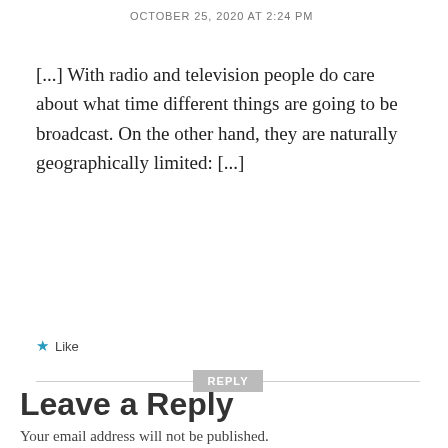OCTOBER 25, 2020 AT 2:24 PM
[...] With radio and television people do care about what time different things are going to be broadcast. On the other hand, they are naturally geographically limited: [...]
★ Like
REPLY
Leave a Reply
Your email address will not be published.